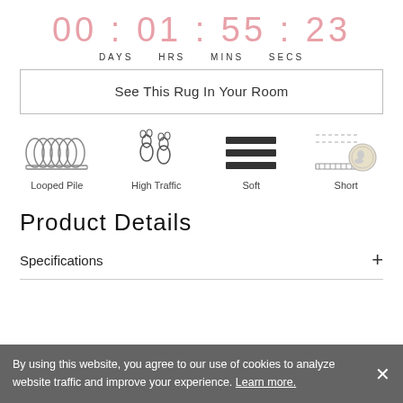00 : 01 : 55 : 23
DAYS HRS MINS SECS
See This Rug In Your Room
[Figure (infographic): Four icons representing rug properties: Looped Pile (coiled rope icon), High Traffic (boot print icon), Soft (three horizontal lines icon), Short (coin size comparison icon)]
Product Details
Specifications
By using this website, you agree to our use of cookies to analyze website traffic and improve your experience. Learn more.